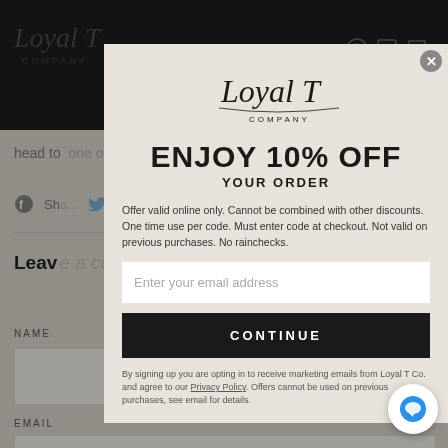[Figure (screenshot): Background webpage showing Loyal T Company website with dark header, social sharing icons, Leave a comment section, NAME and EMAIL form fields, partially visible behind a modal popup.]
[Figure (infographic): Modal popup with Loyal T Company logo, '10% OFF YOUR ORDER' offer, email input field, CONTINUE button, and fine print about offer terms.]
ENJOY 10% OFF
YOUR ORDER
Offer valid online only. Cannot be combined with other discounts. One time use per code. Must enter code at checkout. Not valid on previous purchases. No rainchecks.
Enter your email address
CONTINUE
By signing up you are opting in to receive marketing emails from Loyal T Co. and agree to our Privacy Policy. Offers cannot be used on previous purchases, see email for details.